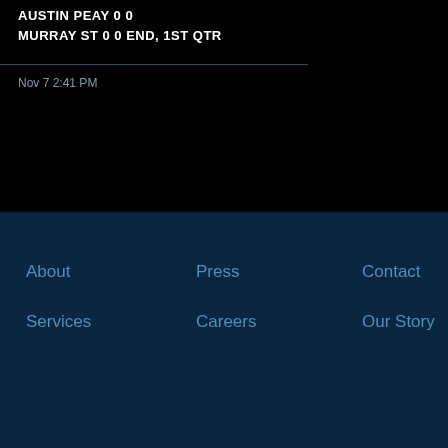AUSTIN PEAY 0 0
MURRAY ST 0 0 END, 1ST QTR
Nov 7 2:41 PM
About
Press
Contact
Services
Careers
Our Story